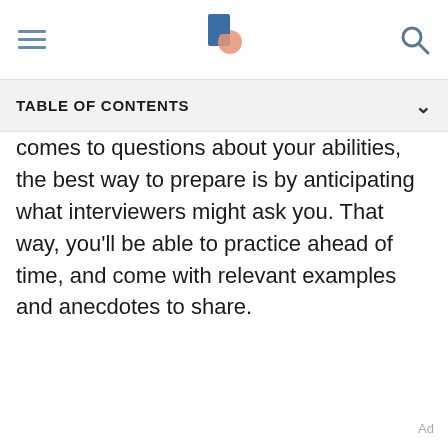TABLE OF CONTENTS
comes to questions about your abilities, the best way to prepare is by anticipating what interviewers might ask you. That way, you'll be able to practice ahead of time, and come with relevant examples and anecdotes to share.
Ad